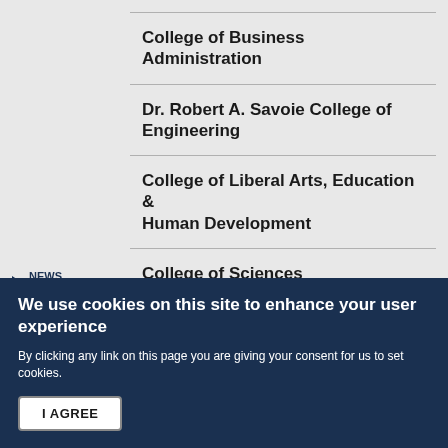College of Business Administration
Dr. Robert A. Savoie College of Engineering
College of Liberal Arts, Education & Human Development
College of Sciences
Research
Student Life
NEWS CATEGORIES
We use cookies on this site to enhance your user experience
By clicking any link on this page you are giving your consent for us to set cookies.
I AGREE